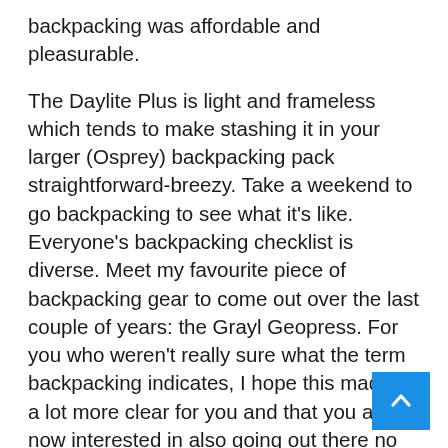backpacking was affordable and pleasurable.
The Daylite Plus is light and frameless which tends to make stashing it in your larger (Osprey) backpacking pack straightforward-breezy. Take a weekend to go backpacking to see what it's like. Everyone's backpacking checklist is diverse. Meet my favourite piece of backpacking gear to come out over the last couple of years: the Grayl Geopress. For you who weren't really sure what the term backpacking indicates, I hope this made it a lot more clear for you and that you are now interested in also going out there no matter what type of backpacker you are and start exploring the world.
Flashpacking is a new sort of backpacking. It is